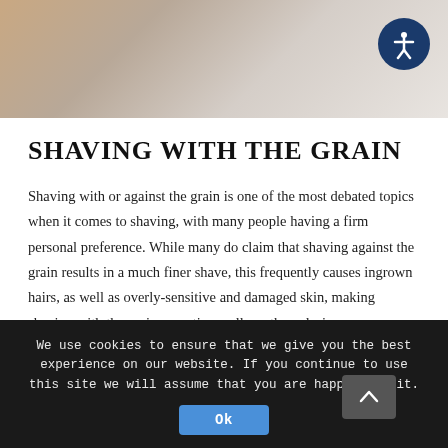[Figure (photo): Partial photo showing a person shaving, blurred/cropped at top of page with warm beige and grey tones]
SHAVING WITH THE GRAIN
Shaving with or against the grain is one of the most debated topics when it comes to shaving, with many people having a firm personal preference. While many do claim that shaving against the grain results in a much finer shave, this frequently causes ingrown hairs, as well as overly-sensitive and damaged skin, making shaving with the grain an option well worth exploring.
We use cookies to ensure that we give you the best experience on our website. If you continue to use this site we will assume that you are happy with it.